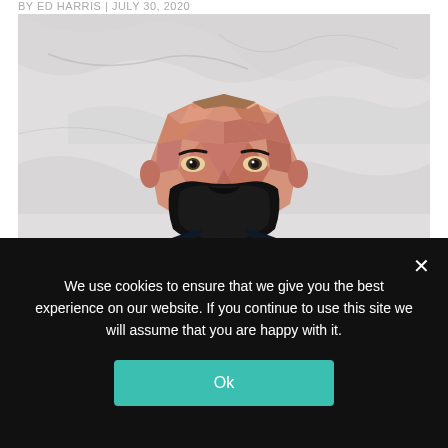BY ED HARRIS | JULY 30, 2020
[Figure (illustration): Low-poly geometric art illustration of a bald man with a beard wearing a dark hoodie, set against a marble-textured background]
TSG Hoffenheim: A tactical analysis of
We use cookies to ensure that we give you the best experience on our website. If you continue to use this site we will assume that you are happy with it.